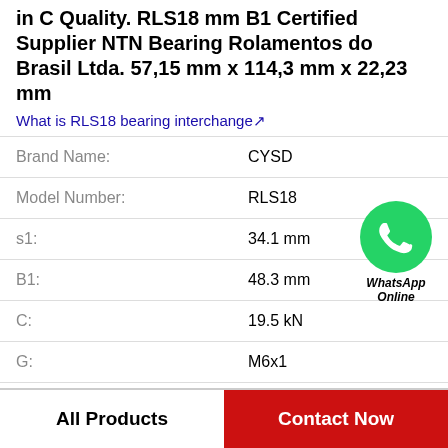in C Quality. RLS18 mm B1 Certified Supplier NTN Bearing Rolamentos do Brasil Ltda. 57,15 mm x 114,3 mm x 22,23 mm
What is RLS18 bearing interchange↗
| Property | Value |
| --- | --- |
| Brand Name: | CYSD |
| Model Number: | RLS18 |
| s1: | 34.1 mm |
| B1: | 48.3 mm |
| C: | 19.5 kN |
| G: | M6x1 |
| H1: | 17 mm |
[Figure (logo): WhatsApp Online green circle icon with phone handset, labeled WhatsApp Online]
All Products
Contact Now